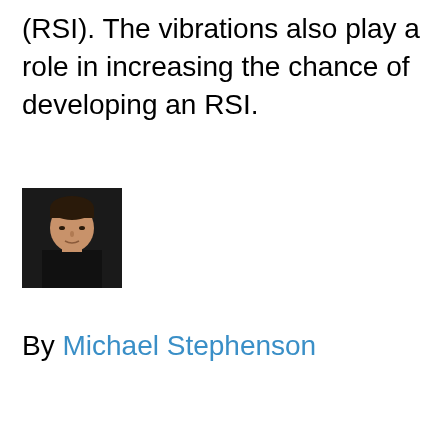(RSI). The vibrations also play a role in increasing the chance of developing an RSI.
[Figure (photo): Headshot photo of a young man wearing a black t-shirt, dark background]
By Michael Stephenson